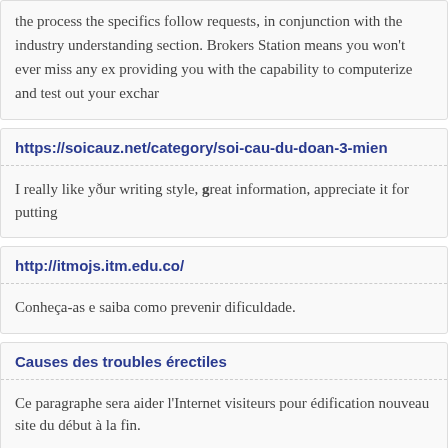the process the specifics follow requests, in conjunction with the industry understanding section. Brokers Station means you won't ever miss any ex providing you with the capability to computerize and test out your exchar
https://soicauz.net/category/soi-cau-du-doan-3-mien
I really like yður writing style, great information, appreciate it for putting
http://itmojs.itm.edu.co/
Conheça-as e saiba como prevenir dificuldade.
Causes des troubles érectiles
Ce paragraphe sera aider l'Internet visiteurs pour édification nouveau site du début à la fin.
spouse-house.com
É muito surpreendente, mas é a verdade.